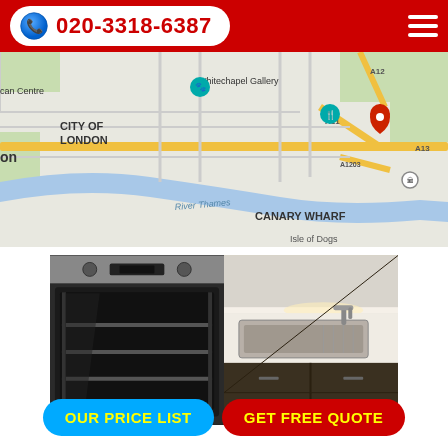020-3318-6387
[Figure (map): Google Maps view of London showing City of London, Whitechapel Gallery, Canary Wharf, River Thames, City Hall, Isle of Dogs, A11, A13, A1203, A12 roads with a red location pin marker]
[Figure (photo): Two kitchen appliance photos side by side: left shows an open stainless steel oven/cooker, right shows a stainless steel kitchen sink with tap on a white countertop with dark cabinetry]
OUR PRICE LIST
GET FREE QUOTE